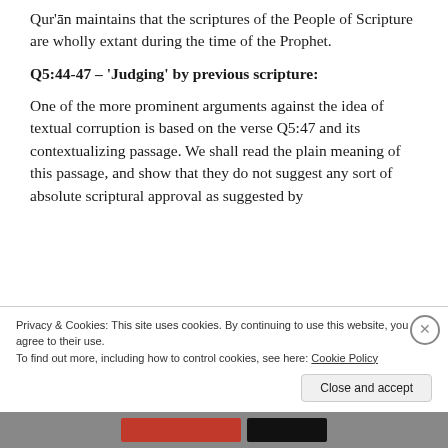Qur'ān maintains that the scriptures of the People of Scripture are wholly extant during the time of the Prophet.
Q5:44-47 – 'Judging' by previous scripture:
One of the more prominent arguments against the idea of textual corruption is based on the verse Q5:47 and its contextualizing passage. We shall read the plain meaning of this passage, and show that they do not suggest any sort of absolute scriptural approval as suggested by
Privacy & Cookies: This site uses cookies. By continuing to use this website, you agree to their use.
To find out more, including how to control cookies, see here: Cookie Policy
Close and accept